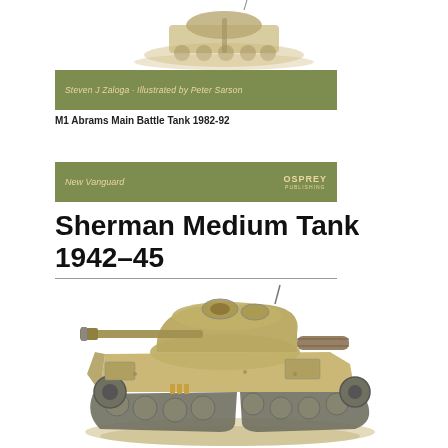[Figure (illustration): Top portion of a tank illustration (M1 Abrams), partially cropped at the top of the page]
Steven J Zaloga · Illustrated by Peter Sarson
M1 Abrams Main Battle Tank 1982-92
New Vanguard
OSPREY PUBLISHING
Sherman Medium Tank 1942–45
[Figure (illustration): Detailed cutaway-style illustration of a Sherman Medium Tank, showing exterior and partial interior detail, rendered in color with tan/green tones]